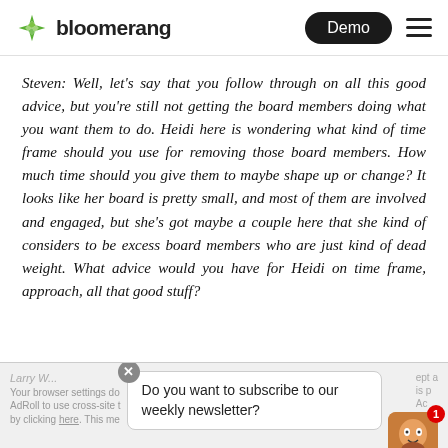bloomerang — Demo
Steven: Well, let's say that you follow through on all this good advice, but you're still not getting the board members doing what you want them to do. Heidi here is wondering what kind of time frame should you use for removing those board members. How much time should you give them to maybe shape up or change? It looks like her board is pretty small, and most of them are involved and engaged, but she's got maybe a couple here that she kind of considers to be excess board members who are just kind of dead weight. What advice would you have for Heidi on time frame, approach, all that good stuff?
Do you want to subscribe to our weekly newsletter?